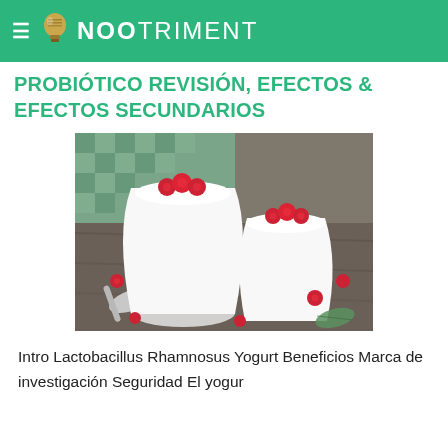≡  NOOTRIMENT
PROBIÓTICO REVISIÓN, EFECTOS & EFECTOS SECUNDARIOS
[Figure (photo): Two glass jars of white yogurt topped with fresh raspberries, surrounded by scattered raspberries, a silver spoon, and green fabric on a wooden surface.]
Intro Lactobacillus Rhamnosus Yogurt Beneficios Marca de investigación Seguridad El yogur